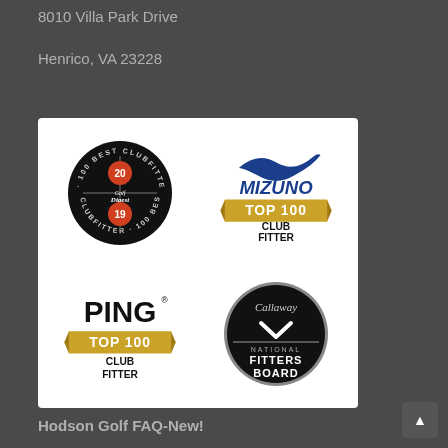8010 Villa Park Drive
Henrico, VA 23228
[Figure (logo): Four golf club fitting award badges: Golf Digest 100 Best Clubfitter (years 19 and 20), Mizuno Top 100 Club Fitter, PING Top 100 Club Fitter, and Callaway National Fitters Board]
Hodson Golf FAQ-New!